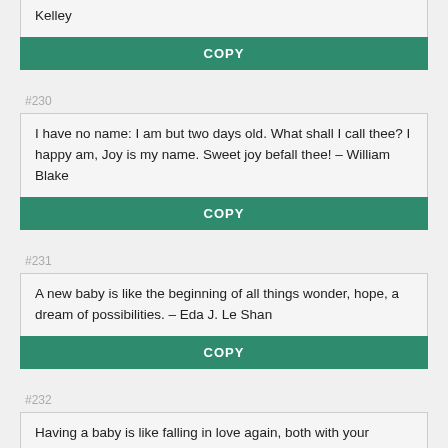Kelley
COPY
#230
I have no name: I am but two days old. What shall I call thee? I happy am, Joy is my name. Sweet joy befall thee! – William Blake
COPY
#231
A new baby is like the beginning of all things wonder, hope, a dream of possibilities. – Eda J. Le Shan
COPY
#232
Having a baby is like falling in love again, both with your husband and your child. – Tina Brown
COPY